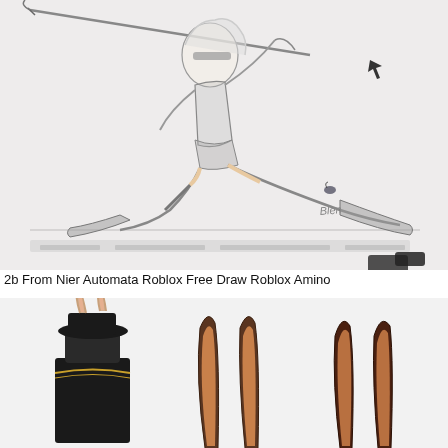[Figure (illustration): A pencil sketch drawing of 2B from Nier Automata, a female character in a dynamic sword-fighting pose, wearing a black outfit and thigh-high boots. She is lunging with a sword raised above her head. The drawing has some color on the skin tones and boots. There is an artist signature in the lower right area, and some blurred text at the bottom of the image. A small arrow cursor and small object are visible in the upper right area.]
2b From Nier Automata Roblox Free Draw Roblox Amino
[Figure (illustration): A Roblox-style 3D rendered scene showing blocky Roblox character avatars wearing black outfits with bunny ears accessories. The leftmost figure wears a black hat with bunny ears and a black outfit with gold trim. The middle and right portions show close-ups of bunny ear accessories in dark brown/black colors.]